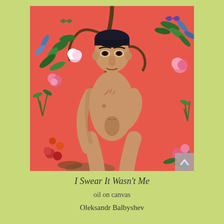[Figure (illustration): A figurative oil painting of a nude young man standing against a vivid coral/salmon-pink background heavily decorated with botanical motifs — flowering plants, roses, tropical leaves, and butterflies. The man has short dark hair with a fringe, and stands with one hand on his chest and the other on his hip, looking directly at the viewer. The painting style is hyper-realistic and lush.]
I Swear It Wasn't Me
oil on canvas
Oleksandr Balbyshev